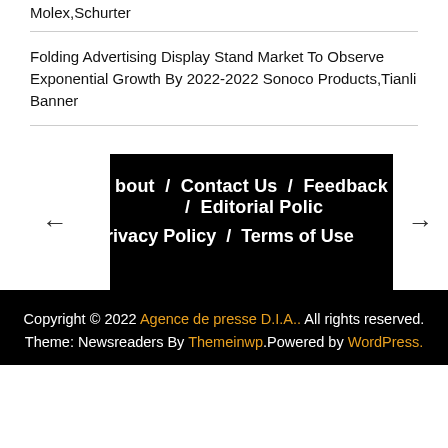Molex,Schurter
Folding Advertising Display Stand Market To Observe Exponential Growth By 2022-2022 Sonoco Products,Tianli Banner
bout / Contact Us / Feedback / Editorial Polic
Privacy Policy / Terms of Use
Copyright © 2022 Agence de presse D.I.A.. All rights reserved.
Theme: Newsreaders By Themeinwp.Powered by WordPress.